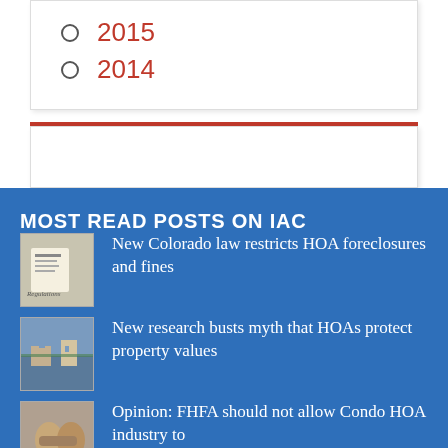2015
2014
MOST READ POSTS ON IAC
New Colorado law restricts HOA foreclosures and fines
New research busts myth that HOAs protect property values
Opinion: FHFA should not allow Condo HOA industry to